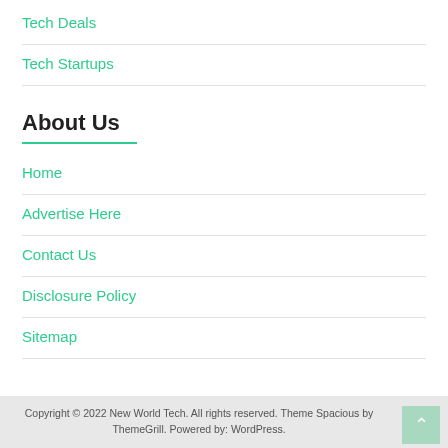Tech Deals
Tech Startups
About Us
Home
Advertise Here
Contact Us
Disclosure Policy
Sitemap
Copyright © 2022 New World Tech. All rights reserved. Theme Spacious by ThemeGrill. Powered by: WordPress.